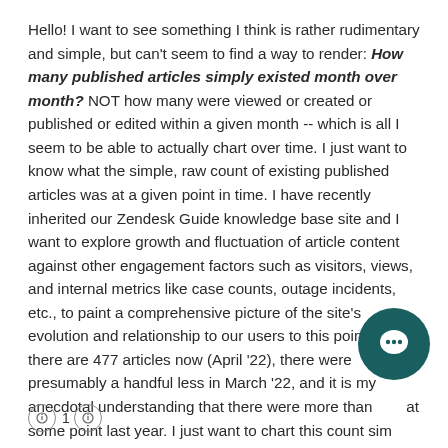Hello! I want to see something I think is rather rudimentary and simple, but can't seem to find a way to render: How many published articles simply existed month over month? NOT how many were viewed or created or published or edited within a given month -- which is all I seem to be able to actually chart over time. I just want to know what the simple, raw count of existing published articles was at a given point in time. I have recently inherited our Zendesk Guide knowledge base site and I want to explore growth and fluctuation of article content against other engagement factors such as visitors, views, and internal metrics like case counts, outage incidents, etc., to paint a comprehensive picture of the site's evolution and relationship to our users to this point. I know there are 477 articles now (April '22), there were presumably a handful less in March '22, and it is my anecdotal understanding that there were more than at some point last year. I just want to chart this count sim
[Figure (other): Dark teal circular chat button with speech bubble icon overlay in bottom right area]